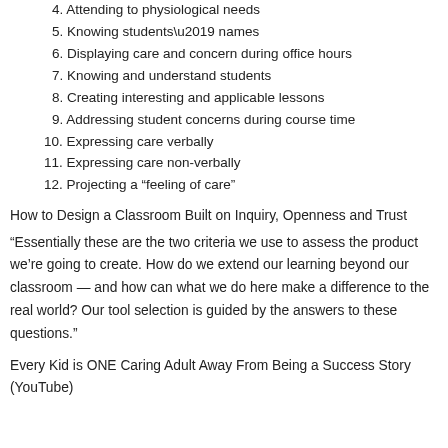4. Attending to physiological needs
5. Knowing students’ names
6. Displaying care and concern during office hours
7. Knowing and understand students
8. Creating interesting and applicable lessons
9. Addressing student concerns during course time
10. Expressing care verbally
11. Expressing care non-verbally
12. Projecting a “feeling of care”
How to Design a Classroom Built on Inquiry, Openness and Trust
“Essentially these are the two criteria we use to assess the product we’re going to create. How do we extend our learning beyond our classroom — and how can what we do here make a difference to the real world? Our tool selection is guided by the answers to these questions.”
Every Kid is ONE Caring Adult Away From Being a Success Story (YouTube)